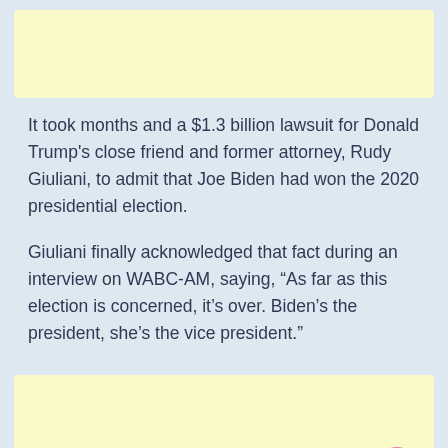[Figure (other): Yellow advertisement banner at top of page]
It took months and a $1.3 billion lawsuit for Donald Trump's close friend and former attorney, Rudy Giuliani, to admit that Joe Biden had won the 2020 presidential election.
Giuliani finally acknowledged that fact during an interview on WABC-AM, saying, “As far as this election is concerned, it’s over. Biden’s the president, she’s the vice president.”
[Figure (other): Yellow advertisement banner at bottom of page with pink scroll-to-top button]